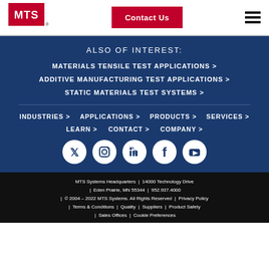[Figure (logo): MTS logo with red square containing white MTS text]
Contact Us
ALSO OF INTEREST:
MATERIALS TENSILE TEST APPLICATIONS >
ADDITIVE MANUFACTURING TEST APPLICATIONS >
STATIC MATERIALS TEST SYSTEMS >
INDUSTRIES >
APPLICATIONS >
PRODUCTS >
SERVICES >
LEARN >
CONTACT >
COMPANY >
[Figure (illustration): Social media icons: Twitter, Instagram, LinkedIn, Facebook, YouTube — white icons on dark blue circular backgrounds]
MTS Systems Headquarters | 14000 Technology Drive | Eden Prairie, MN 55344 | 952.937.4000 | © 2004 – 2022 MTS Systems. All Rights Reserved | Privacy Policy | Terms & Conditions | Quality | Suppliers | Product Safety | Sales Offices | Cookie Preferences